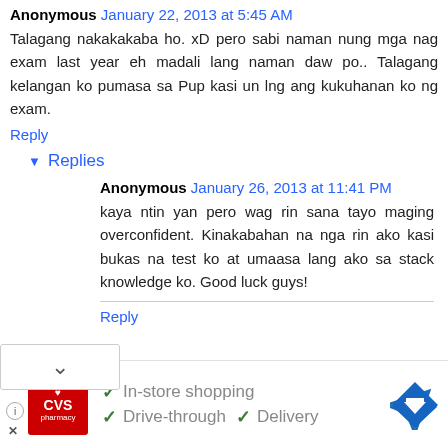Anonymous January 22, 2013 at 5:45 AM
Talagang nakakakaba ho. xD pero sabi naman nung mga nag exam last year eh madali lang naman daw po.. Talagang kelangan ko pumasa sa Pup kasi un lng ang kukuhanan ko ng exam.
Reply
Replies
Anonymous January 26, 2013 at 11:41 PM
kaya ntin yan pero wag rin sana tayo maging overconfident. Kinakabahan na nga rin ako kasi bukas na test ko at umaasa lang ako sa stack knowledge ko. Good luck guys!
Reply
[Figure (infographic): CVS Pharmacy advertisement banner with logo, checkmarks for In-store shopping, Drive-through, Delivery, and a navigation/directions icon]